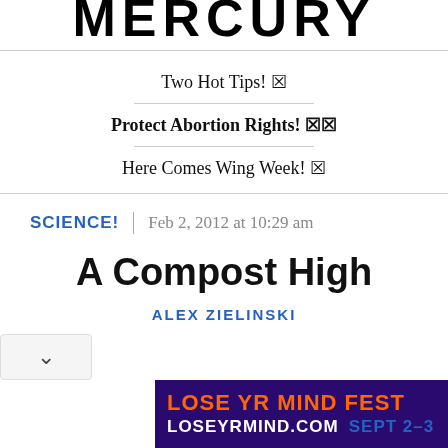MERCURY
Two Hot Tips! ☒
Protect Abortion Rights! ☒☒
Here Comes Wing Week! ☒
SCIENCE!   Feb 2, 2012 at 10:29 am
A Compost High
ALEX ZIELINSKI
[Figure (photo): Advertisement banner: LOSE YR MIND FEST, LOSEYRMIND.COM, SEPT 2-3, dark purple background with orange and white text]